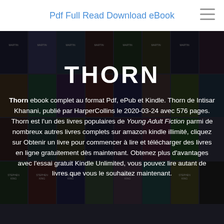Pdf Full Read Download eBook
[Figure (illustration): Background collage of book covers including Stephen King and other authors' books arranged in a grid pattern with dark overlay]
THORN
Thorn ebook complet au format Pdf, ePub et Kindle. Thorn de Intisar Khanani, publié par HarperCollins le 2020-03-24 avec 576 pages. Thorn est l'un des livres populaires de Young Adult Fiction parmi de nombreux autres livres complets sur amazon kindle illimité, cliquez sur Obtenir un livre pour commencer à lire et télécharger des livres en ligne gratuitement dès maintenant. Obtenez plus d'avantages avec l'essai gratuit Kindle Unlimited, vous pouvez lire autant de livres que vous le souhaitez maintenant.